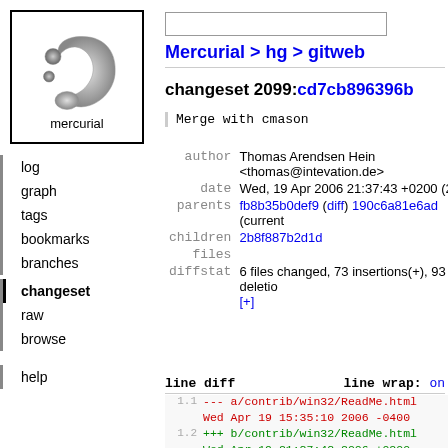[Figure (logo): Mercurial logo: grey comma/swirl shape with two circles, text 'mercurial' below, inside a black border box]
log
graph
tags
bookmarks
branches
changeset (active/bold)
raw
browse
help
Mercurial > hg > gitweb
changeset 2099:cd7cb896396b
Merge with cmason
| field | value |
| --- | --- |
| author | Thomas Arendsen Hein <thomas@intevation.de> |
| date | Wed, 19 Apr 2006 21:37:43 +0200 (2006-0... |
| parents | fb8b35b0def9 (diff) 190c6a81e6ad (current... |
| children | 2b8f887b2d1d |
| files |  |
| diffstat | 6 files changed, 73 insertions(+), 93 deletio... [+] |
line diff    line wrap: on
1.1  --- a/contrib/win32/ReadMe.html
     Wed Apr 19 15:35:10 2006 -0400
1.2  +++ b/contrib/win32/ReadMe.html
     Wed Apr 19 21:37:43 2006 +0200
1.3  @@ -2,6 +2,15 @@
1.4       <html>
1.5           <head>
1.6               <title>Mercurial for